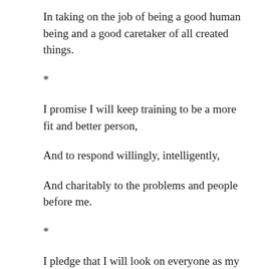In taking on the job of being a good human being and a good caretaker of all created things.
*
I promise I will keep training to be a more fit and better person,
And to respond willingly, intelligently,
And charitably to the problems and people before me.
*
I pledge that I will look on everyone as my responsibility,